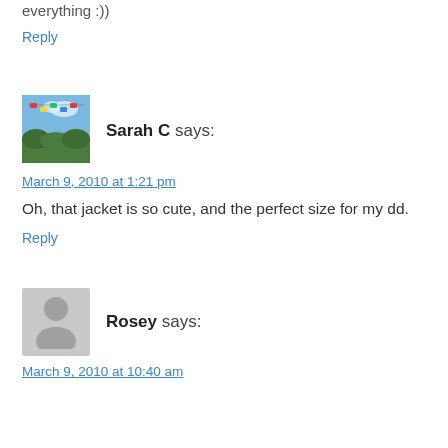everything :))
Reply
[Figure (photo): Avatar photo of Sarah C showing colorful flags and trees against a blue sky]
Sarah C says:
March 9, 2010 at 1:21 pm
Oh, that jacket is so cute, and the perfect size for my dd.
Reply
[Figure (photo): Generic avatar placeholder silhouette for Rosey]
Rosey says:
March 9, 2010 at 10:40 am